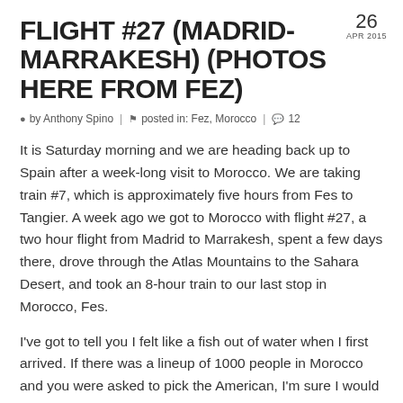FLIGHT #27 (MADRID-MARRAKESH) (PHOTOS HERE FROM FEZ)
by Anthony Spino | posted in: Fez, Morocco | 12
It is Saturday morning and we are heading back up to Spain after a week-long visit to Morocco. We are taking train #7, which is approximately five hours from Fes to Tangier. A week ago we got to Morocco with flight #27, a two hour flight from Madrid to Marrakesh, spent a few days there, drove through the Atlas Mountains to the Sahara Desert, and took an 8-hour train to our last stop in Morocco, Fes.
I've got to tell you I felt like a fish out of water when I first arrived. If there was a lineup of 1000 people in Morocco and you were asked to pick the American, I'm sure I would be picked every time. Also I really didn't know much about